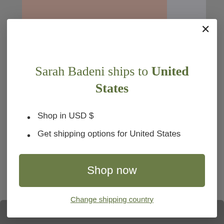[Figure (screenshot): Background showing a fashion/lingerie product photo with pinkish-brown and gray tones, partially obscured by a modal overlay.]
Sarah Badeni ships to United States
Shop in USD $
Get shipping options for United States
Shop now
Change shipping country